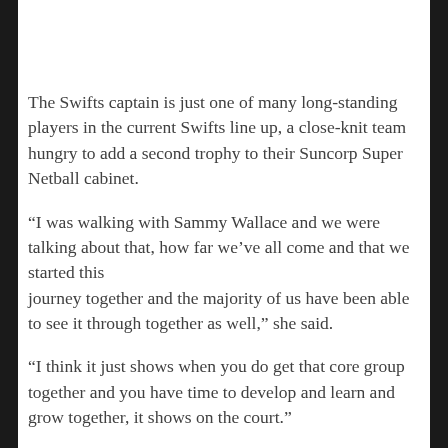The Swifts captain is just one of many long-standing players in the current Swifts line up, a close-knit team hungry to add a second trophy to their Suncorp Super Netball cabinet.
“I was walking with Sammy Wallace and we were talking about that, how far we’ve all come and that we started this journey together and the majority of us have been able to see it through together as well,” she said.
“I think it just shows when you do get that core group together and you have time to develop and learn and grow together, it shows on the court.”